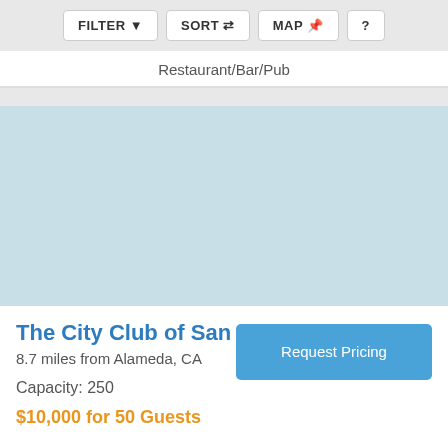[Figure (screenshot): Toolbar with FILTER, SORT, MAP, and ? buttons on a light gray background]
Restaurant/Bar/Pub
[Figure (photo): Light blue placeholder image for The City Club of San Francisco venue]
The City Club of San Francisco
8.7 miles from Alameda, CA
Capacity: 250
Request Pricing
$10,000 for 50 Guests